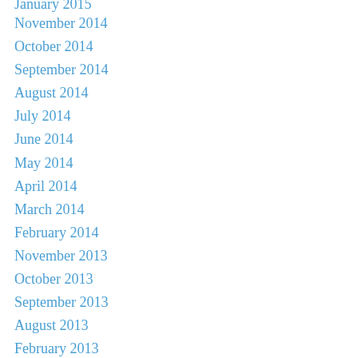January 2015
November 2014
October 2014
September 2014
August 2014
July 2014
June 2014
May 2014
April 2014
March 2014
February 2014
November 2013
October 2013
September 2013
August 2013
February 2013
January 2013
December 2012
November 2012
October 2012